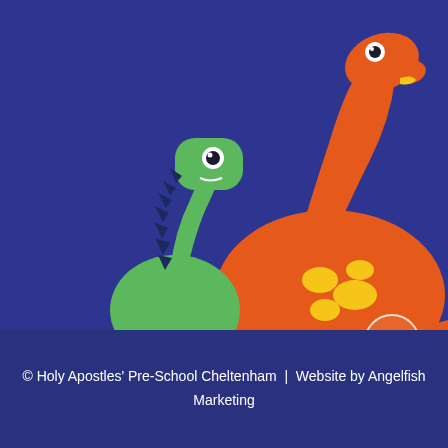8:45am – 3.00pm
[Figure (illustration): Cartoon illustration of two dinosaurs on a dark blue background. A large orange brachiosaurus-style dinosaur with yellow spots on its body, a long neck, small eye, and orange beak stands behind a smaller green dinosaur with dark blue spines along its back and neck, a round eye, and a small white mouth mark. Both dinosaurs face left.]
© Holy Apostles' Pre-School Cheltenham  |   Website by Angelfish Marketing